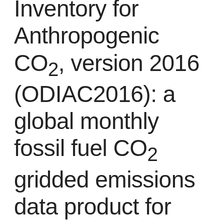Inventory for Anthropogenic CO2, version 2016 (ODIAC2016): a global monthly fossil fuel CO2 gridded emissions data product for tracer transport simulations and surface flux